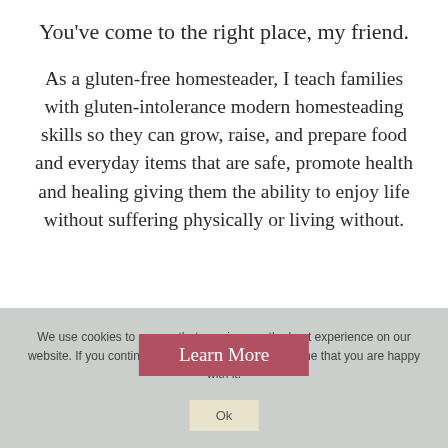You've come to the right place, my friend.
As a gluten-free homesteader, I teach families with gluten-intolerance modern homesteading skills so they can grow, raise, and prepare food and everyday items that are safe, promote health and healing giving them the ability to enjoy life without suffering physically or living without.
We use cookies to ensure that we give you the best experience on our website. If you continue to use this site we will assume that you are happy with it.
Learn More
Ok